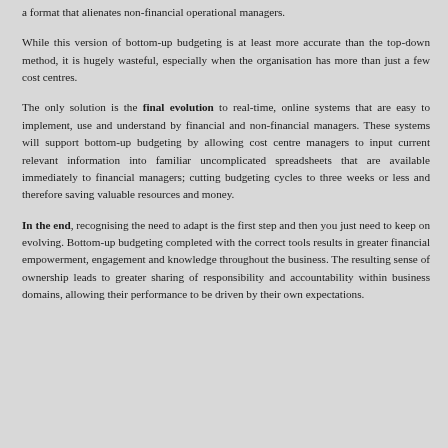a format that alienates non-financial operational managers.
While this version of bottom-up budgeting is at least more accurate than the top-down method, it is hugely wasteful, especially when the organisation has more than just a few cost centres.
The only solution is the final evolution to real-time, online systems that are easy to implement, use and understand by financial and non-financial managers. These systems will support bottom-up budgeting by allowing cost centre managers to input current relevant information into familiar uncomplicated spreadsheets that are available immediately to financial managers; cutting budgeting cycles to three weeks or less and therefore saving valuable resources and money.
In the end, recognising the need to adapt is the first step and then you just need to keep on evolving. Bottom-up budgeting completed with the correct tools results in greater financial empowerment, engagement and knowledge throughout the business. The resulting sense of ownership leads to greater sharing of responsibility and accountability within business domains, allowing their performance to be driven by their own expectations.